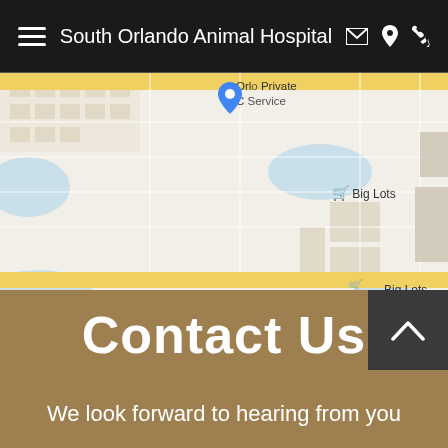South Orlando Animal Hospital
[Figure (map): Street map showing location of South Orlando Animal Hospital near Big Lots and Regency Christian Academy, with route 92 and 17 visible, and Isle of Wright Dr label. Blue map pin marker dropped on the location. Map attribution: Leaflet | Map data provided by Internet Brands.]
Contact Us
We look forward to hearing from you